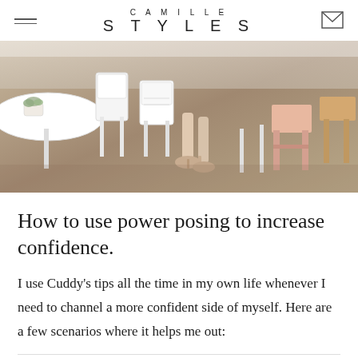CAMILLE STYLES
[Figure (photo): A photo of a cafe or restaurant interior with white chairs, a round white table with a small succulent plant, wooden stools, and a person's feet/legs wearing nude heels visible among the furniture on a concrete floor.]
How to use power posing to increase confidence.
I use Cuddy's tips all the time in my own life whenever I need to channel a more confident side of myself. Here are a few scenarios where it helps me out: